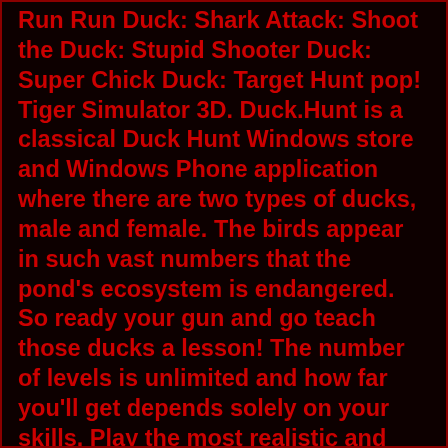Run Run Duck: Shark Attack: Shoot the Duck: Stupid Shooter Duck: Super Chick Duck: Target Hunt pop! Tiger Simulator 3D. Duck.Hunt is a classical Duck Hunt Windows store and Windows Phone application where there are two types of ducks, male and female. The birds appear in such vast numbers that the pond's ecosystem is endangered. So ready your gun and go teach those ducks a lesson! The number of levels is unlimited and how far you'll get depends solely on your skills. Play the most realistic and newest hunting games online, like this new thrilling 2022 bird hunting game called Duck Hunter. Have fun hunting the wild birds online on Brightestgames.com. And start playing this 2D bird hunting game with ducks in the countryside. Ready, aim and fire your shotgun and experience the true feeling of hunting birds. The volcano become dormant and the town returned to normal. Now adventures from around the world come to explore the volcano's cave in hope for treasure and you are one of them. Here you will find the pet shop, where you can buy pets that help you in